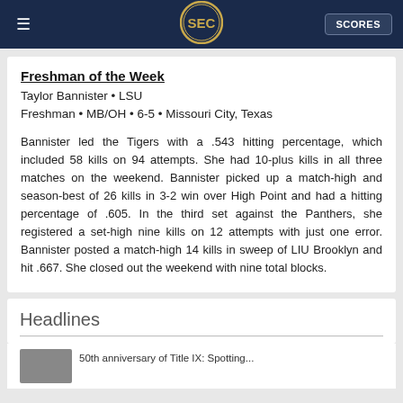SEC SCORES
Freshman of the Week
Taylor Bannister • LSU
Freshman • MB/OH • 6-5 • Missouri City, Texas
Bannister led the Tigers with a .543 hitting percentage, which included 58 kills on 94 attempts. She had 10-plus kills in all three matches on the weekend. Bannister picked up a match-high and season-best of 26 kills in 3-2 win over High Point and had a hitting percentage of .605. In the third set against the Panthers, she registered a set-high nine kills on 12 attempts with just one error. Bannister posted a match-high 14 kills in sweep of LIU Brooklyn and hit .667. She closed out the weekend with nine total blocks.
Headlines